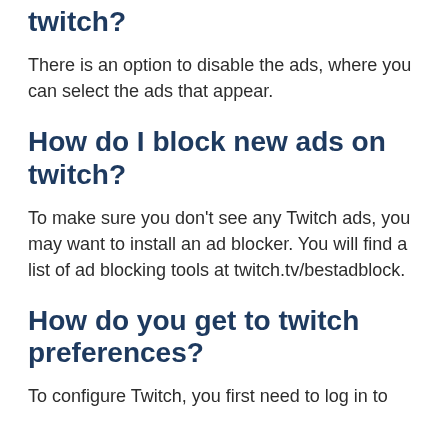twitch?
There is an option to disable the ads, where you can select the ads that appear.
How do I block new ads on twitch?
To make sure you don't see any Twitch ads, you may want to install an ad blocker. You will find a list of ad blocking tools at twitch.tv/bestadblock.
How do you get to twitch preferences?
To configure Twitch, you first need to log in to